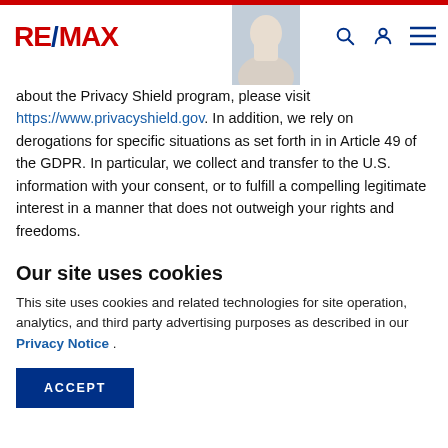RE/MAX [logo] [agent photo] [search icon] [account icon] [menu icon]
about the Privacy Shield program, please visit https://www.privacyshield.gov. In addition, we rely on derogations for specific situations as set forth in in Article 49 of the GDPR. In particular, we collect and transfer to the U.S. information with your consent, or to fulfill a compelling legitimate interest in a manner that does not outweigh your rights and freedoms.
We encourage you to contact us if you have any concerns about our compliance with the Privacy Shield. Any questions or concerns should be sent to
Our site uses cookies
This site uses cookies and related technologies for site operation, analytics, and third party advertising purposes as described in our Privacy Notice .
ACCEPT